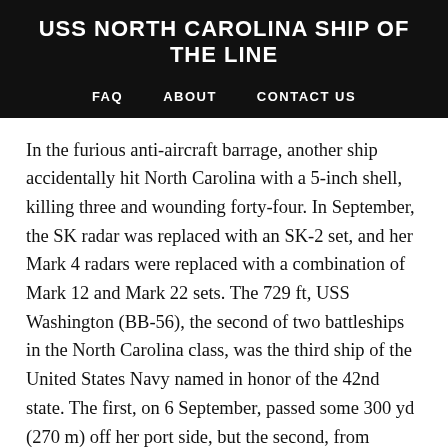USS NORTH CAROLINA SHIP OF THE LINE
FAQ   ABOUT   CONTACT US
In the furious anti-aircraft barrage, another ship accidentally hit North Carolina with a 5-inch shell, killing three and wounding forty-four. In September, the SK radar was replaced with an SK-2 set, and her Mark 4 radars were replaced with a combination of Mark 12 and Mark 22 sets. The 729 ft, USS Washington (BB-56), the second of two battleships in the North Carolina class, was the third ship of the United States Navy named in honor of the 42nd state. The first, on 6 September, passed some 300 yd (270 m) off her port side, but the second, from the second, from